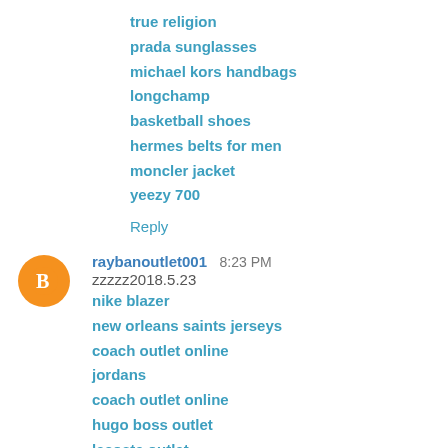true religion
prada sunglasses
michael kors handbags
longchamp
basketball shoes
hermes belts for men
moncler jacket
yeezy 700
Reply
raybanoutlet001  8:23 PM
zzzzz2018.5.23
nike blazer
new orleans saints jerseys
coach outlet online
jordans
coach outlet online
hugo boss outlet
lacoste outlet
coach handbags